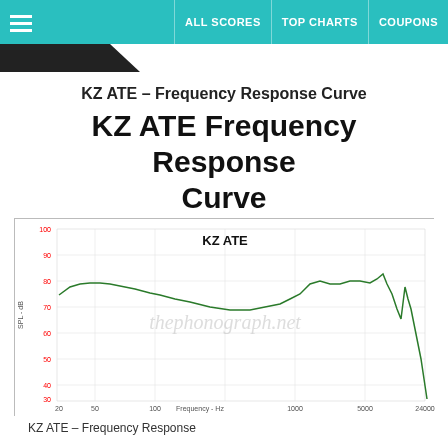ALL SCORES | TOP CHARTS | COUPONS
KZ ATE – Frequency Response Curve
KZ ATE Frequency Response Curve
[Figure (continuous-plot): Frequency response curve for KZ ATE earphones. X-axis: Frequency in Hz from 20 to 24000. Y-axis: SPL in dB from 20 to 100. The curve starts around 78 dB at 20 Hz, rises to about 80 dB around 50-100 Hz, then gradually declines to about 70 dB at 1000 Hz, rises slightly to about 80 dB around 5000 Hz, then sharply drops and shows peaks around 10000-20000 Hz before dropping off. Watermark reads 'thephonograph.net'.]
KZ ATE – Frequency Response